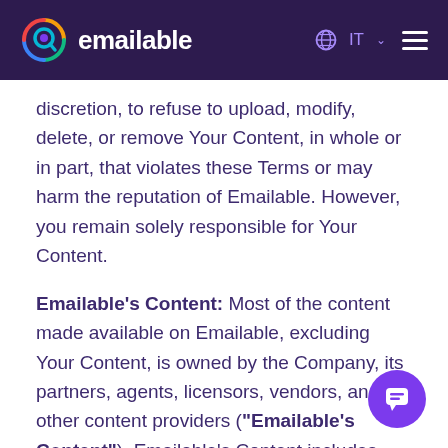emailable — IT
discretion, to refuse to upload, modify, delete, or remove Your Content, in whole or in part, that violates these Terms or may harm the reputation of Emailable. However, you remain solely responsible for Your Content.
Emailable's Content: Most of the content made available on Emailable, excluding Your Content, is owned by the Company, its partners, agents, licensors, vendors, and/or other content providers ("Emailable's Content"). Emailable's Content includes, but is not limited to, text, images, audiovisual content, source code, trademarks, service marks, trade names. Emailable's Content is protected by